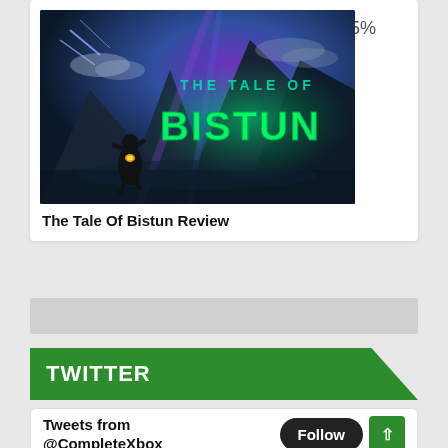[Figure (screenshot): The Tale of Bistun game cover art showing a warrior with glowing armor against a dark fantasy mountain landscape with teal/green neon title text]
65%
The Tale Of Bistun Review
[Figure (other): Gray advertisement bar placeholder]
TWITTER
Tweets from @CompleteXbox